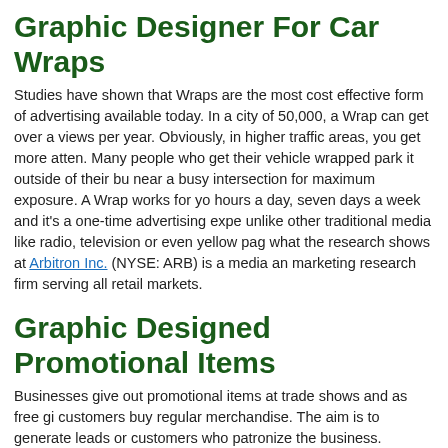Graphic Designer For Car Wraps
Studies have shown that Wraps are the most cost effective form of advertising available today. In a city of 50,000, a Wrap can get over a views per year. Obviously, in higher traffic areas, you get more atten. Many people who get their vehicle wrapped park it outside of their bu near a busy intersection for maximum exposure. A Wrap works for yo hours a day, seven days a week and it's a one-time advertising expe unlike other traditional media like radio, television or even yellow pag what the research shows at Arbitron Inc. (NYSE: ARB) is a media an marketing research firm serving all retail markets.
Graphic Designed Promotional Items
Businesses give out promotional items at trade shows and as free gi customers buy regular merchandise. The aim is to generate leads or customers who patronize the business.
The question is whether the expenditure on these giveaways produc business results in the form of increased sales. Or is it all just a wast money that could be better used on other marketing efforts?
The short answer is that promotional giveaways can produce results campaign is carefully developed and implemented. Promotional Give Produce Business Results: Promotional Gifts are for Lead Generatio Rewarding Customers.